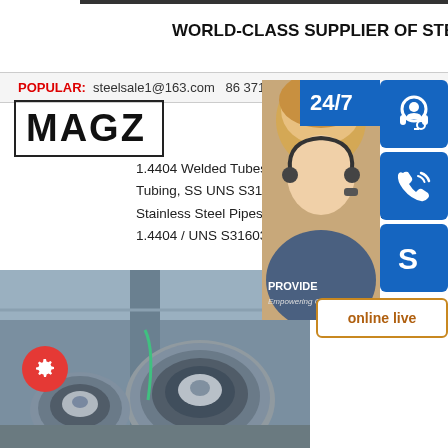WORLD-CLASS SUPPLIER OF STEEL MATERIAL
POPULAR: steelsale1@163.com 86 371 861...
[Figure (logo): MAGZ logo in bold black text with border box]
1.4404 Welded Tubes, SS 316L Welded Pi... Tubing, SS UNS S31600/S31603 Pipe, AST... Stainless Steel Pipes in india.sp.info Stain... 1.4404 / UNS S31603 / SUS 316L
[Figure (photo): Steel coil rolls in industrial warehouse setting]
[Figure (infographic): Customer service sidebar with 24/7 label, headset icon, phone icon, Skype icon, and online live button. Photo of female customer service agent with headset.]